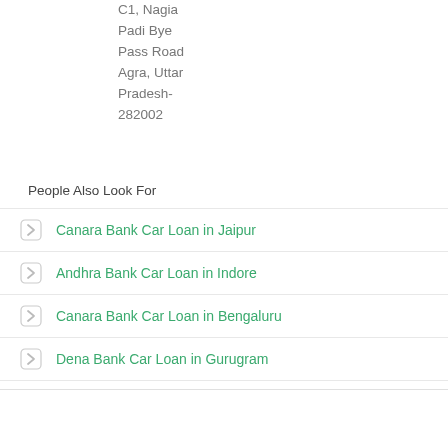C1, Nagia Padi Bye Pass Road Agra, Uttar Pradesh-282002
People Also Look For
Canara Bank Car Loan in Jaipur
Andhra Bank Car Loan in Indore
Canara Bank Car Loan in Bengaluru
Dena Bank Car Loan in Gurugram
Bank of India Car Loan in Bengaluru